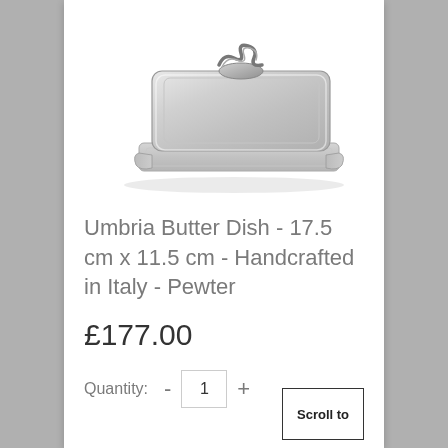[Figure (photo): A polished pewter/stainless steel butter dish with a rectangular tray and domed lid with a decorative coil handle on top, photographed on white background.]
Umbria Butter Dish - 17.5 cm x 11.5 cm - Handcrafted in Italy - Pewter
£177.00
Quantity:  -  1  +
Scroll to